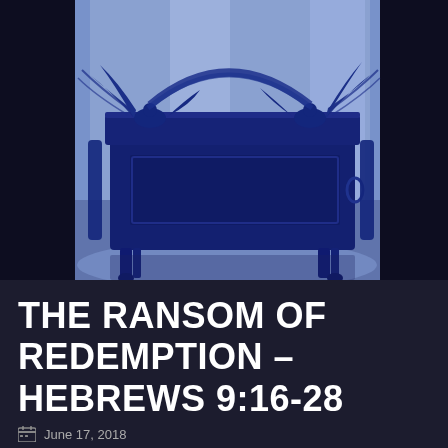[Figure (photo): Photo of a golden/dark blue Ark of the Covenant replica with two angel figures with spread wings on top, shot with a blue-tinted filter, on a reflective surface with a bright background]
THE RANSOM OF REDEMPTION – HEBREWS 9:16-28
June 17, 2018